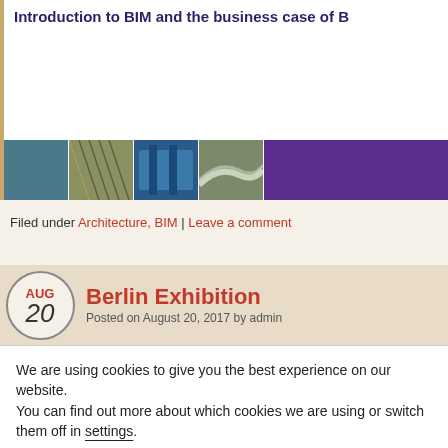Introduction to BIM and the business case of BIM
[Figure (photo): Strip of 4 architectural/construction photos followed by purple color bar]
Filed under Architecture, BIM | Leave a comment
Berlin Exhibition
Posted on August 20, 2017 by admin
We are using cookies to give you the best experience on our website.
You can find out more about which cookies we are using or switch them off in settings.
Accept